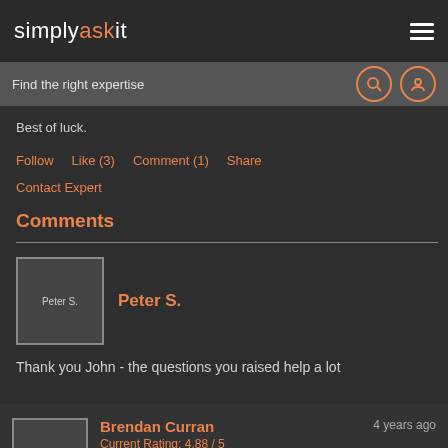simplyaskit
Find the right expertise
Best of luck.
Follow   Like (3)   Comment (1)   Share
Contact Expert
Comments
Peter S.
Thank you John - the questions you raised help a lot
Brendan Curran   4 years ago   Current Rating: 4.88 / 5   Accountant